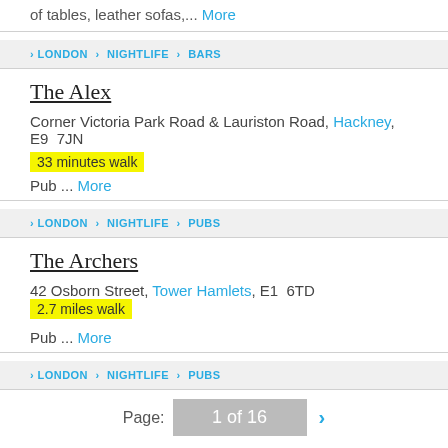of tables, leather sofas,... More
LONDON > NIGHTLIFE > BARS
The Alex
Corner Victoria Park Road & Lauriston Road, Hackney, E9 7JN
33 minutes walk
Pub ... More
LONDON > NIGHTLIFE > PUBS
The Archers
42 Osborn Street, Tower Hamlets, E1 6TD  2.7 miles walk
Pub ... More
LONDON > NIGHTLIFE > PUBS
Page: 1 of 16